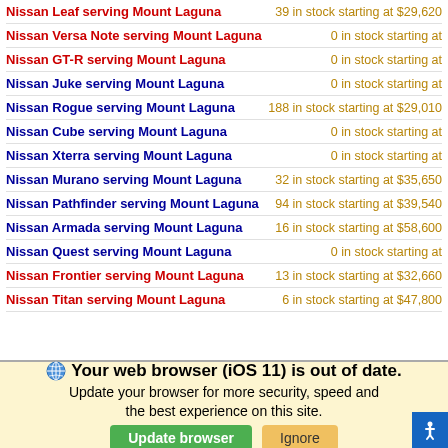Nissan Leaf serving Mount Laguna — 39 in stock starting at $29,620
Nissan Versa Note serving Mount Laguna — 0 in stock starting at
Nissan GT-R serving Mount Laguna — 0 in stock starting at
Nissan Juke serving Mount Laguna — 0 in stock starting at
Nissan Rogue serving Mount Laguna — 188 in stock starting at $29,010
Nissan Cube serving Mount Laguna — 0 in stock starting at
Nissan Xterra serving Mount Laguna — 0 in stock starting at
Nissan Murano serving Mount Laguna — 32 in stock starting at $35,650
Nissan Pathfinder serving Mount Laguna — 94 in stock starting at $39,540
Nissan Armada serving Mount Laguna — 16 in stock starting at $58,600
Nissan Quest serving Mount Laguna — 0 in stock starting at
Nissan Frontier serving Mount Laguna — 13 in stock starting at $32,660
Nissan Titan serving Mount Laguna — 6 in stock starting at $47,800
Your web browser (iOS 11) is out of date. Update your browser for more security, speed and the best experience on this site.